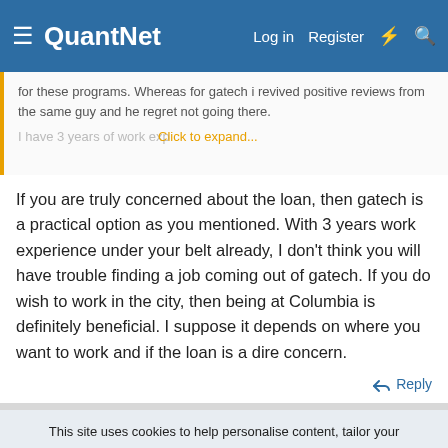QuantNet | Log in | Register
for these programs. Whereas for gatech i revived positive reviews from the same guy and he regret not going there.
I have 3 years of work exp... Click to expand...
If you are truly concerned about the loan, then gatech is a practical option as you mentioned. With 3 years work experience under your belt already, I don't think you will have trouble finding a job coming out of gatech. If you do wish to work in the city, then being at Columbia is definitely beneficial. I suppose it depends on where you want to work and if the loan is a dire concern.
↩ Reply
This site uses cookies to help personalise content, tailor your experience and to keep you logged in if you register.
By continuing to use this site, you are consenting to our use of cookies.
✓ Accept    Learn more...